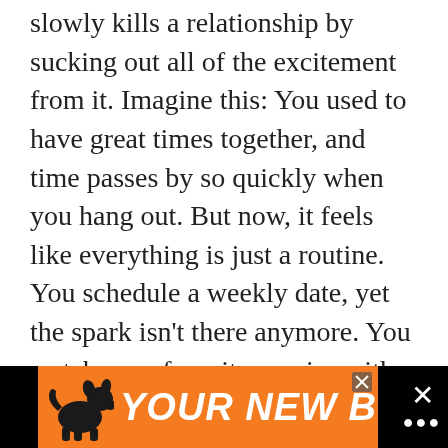slowly kills a relationship by sucking out all of the excitement from it. Imagine this: You used to have great times together, and time passes by so quickly when you hang out. But now, it feels like everything is just a routine. You schedule a weekly date, yet the spark isn't there anymore. You watch your favorite movies with him, yet his presence makes it a little less interesting.
Tips: break out of the routine with one of these cheap date ideas.
[Figure (other): Advertisement banner with orange background showing a dog silhouette and the text 'YOUR NEW BFF' in bold italic white letters, with close/X buttons.]